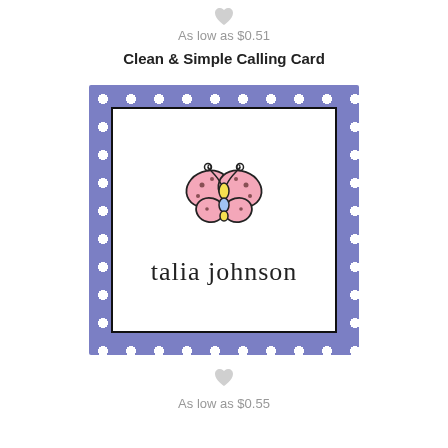As low as $0.51
Clean & Simple Calling Card
[Figure (illustration): A calling card with purple polka dot border, thin black inner frame, a cartoon pink butterfly illustration with yellow body and swirly antennae, and the name 'talia johnson' in a whimsical italic font below the butterfly.]
As low as $0.55